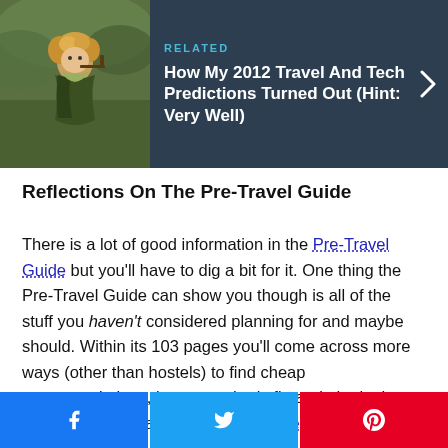[Figure (photo): Related article box with dark background showing a hobbit-like character holding a pipe on the left, and article title on the right]
Reflections On The Pre-Travel Guide
There is a lot of good information in the Pre-Travel Guide but you'll have to dig a bit for it. One thing the Pre-Travel Guide can show you though is all of the stuff you haven't considered planning for and maybe should. Within its 103 pages you'll come across more ways (other than hostels) to find cheap accommodations, keep your body fit, and obtain the trickier tourist visas out there. The Pre-Travel
[Figure (infographic): Social share buttons row: Facebook (blue), Twitter (light blue), Pinterest (red)]